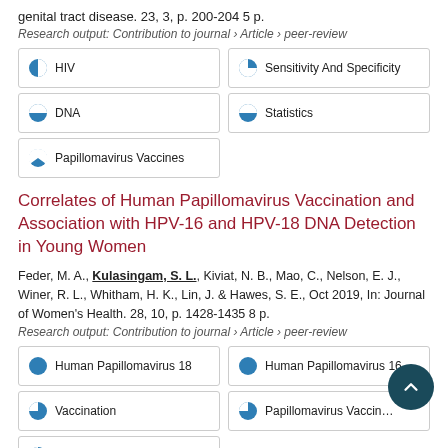genital tract disease. 23, 3, p. 200-204 5 p.
Research output: Contribution to journal › Article › peer-review
HIV (100%)
Sensitivity And Specificity (~90%)
DNA (~50%)
Statistics (~50%)
Papillomavirus Vaccines (~30%)
Correlates of Human Papillomavirus Vaccination and Association with HPV-16 and HPV-18 DNA Detection in Young Women
Feder, M. A., Kulasingam, S. L., Kiviat, N. B., Mao, C., Nelson, E. J., Winer, R. L., Whitham, H. K., Lin, J. & Hawes, S. E., Oct 2019, In: Journal of Women's Health. 28, 10, p. 1428-1435 8 p.
Research output: Contribution to journal › Article › peer-review
Human Papillomavirus 18 (100%)
Human Papillomavirus 16 (100%)
Vaccination (~65%)
Papillomavirus Vaccines (~65%)
DNA (~45%)